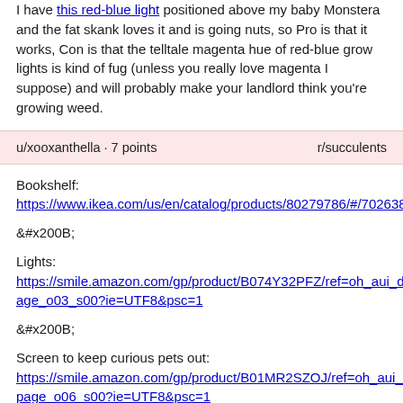I have this red-blue light positioned above my baby Monstera and the fat skank loves it and is going nuts, so Pro is that it works, Con is that the telltale magenta hue of red-blue grow lights is kind of fug (unless you really love magenta I suppose) and will probably make your landlord think you're growing weed.
u/xooxanthella · 7 points   r/succulents
Bookshelf:
https://www.ikea.com/us/en/catalog/products/80279786/#/70263842
&amp;#x200B;
Lights:
https://smile.amazon.com/gp/product/B074Y32PFZ/ref=oh_aui_detailpage_o03_s00?ie=UTF8&amp;psc=1
&amp;#x200B;
Screen to keep curious pets out:
https://smile.amazon.com/gp/product/B01MR2SZOJ/ref=oh_aui_detailpage_o06_s00?ie=UTF8&amp;psc=1
&amp;#x200B;
I used the self adhesive that came with the screen, but I'd definitely recommend sewing the border and velcro on if you have the means and the talent. Pulling the screen on and off weakens the adhesive for sure. The lights don't make much heat. They are also on a timer that I